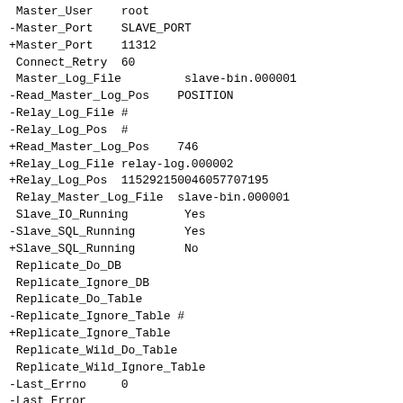Master_User    root
-Master_Port    SLAVE_PORT
+Master_Port    11312
 Connect_Retry  60
 Master_Log_File         slave-bin.000001
-Read_Master_Log_Pos    POSITION
-Relay_Log_File #
-Relay_Log_Pos  #
+Read_Master_Log_Pos    746
+Relay_Log_File relay-log.000002
+Relay_Log_Pos  115292150046057707195
 Relay_Master_Log_File  slave-bin.000001
 Slave_IO_Running        Yes
-Slave_SQL_Running       Yes
+Slave_SQL_Running       No
 Replicate_Do_DB
 Replicate_Ignore_DB
 Replicate_Do_Table
-Replicate_Ignore_Table #
+Replicate_Ignore_Table
 Replicate_Wild_Do_Table
 Replicate_Wild_Ignore_Table
-Last_Errno     0
-Last_Error